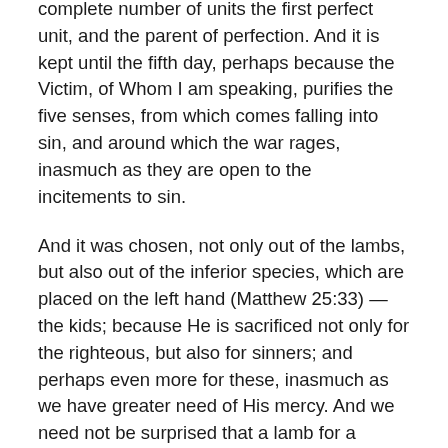complete number of units the first perfect unit, and the parent of perfection. And it is kept until the fifth day, perhaps because the Victim, of Whom I am speaking, purifies the five senses, from which comes falling into sin, and around which the war rages, inasmuch as they are open to the incitements to sin.
And it was chosen, not only out of the lambs, but also out of the inferior species, which are placed on the left hand (Matthew 25:33) — the kids; because He is sacrificed not only for the righteous, but also for sinners; and perhaps even more for these, inasmuch as we have greater need of His mercy. And we need not be surprised that a lamb for a house should be required as the best course, but if that could not be, then one might be obtained by contributions (owing to poverty) for the houses of a family; because it is clearly best that each individual should suffice for his own